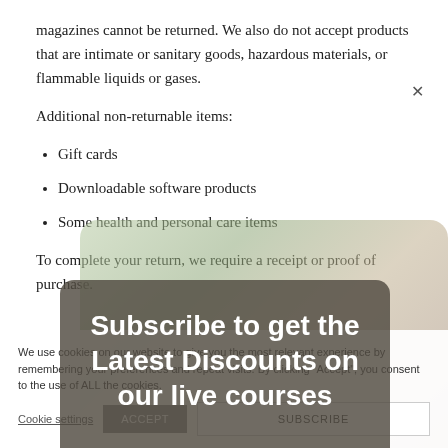magazines cannot be returned. We also do not accept products that are intimate or sanitary goods, hazardous materials, or flammable liquids or gases.
Additional non-returnable items:
Gift cards
Downloadable software products
Some health and personal care items
To complete your return, we require a receipt or proof of purchase.
[Figure (photo): Background photo of a person with green plant, partially visible, overlaid with a semi-transparent dark subscribe modal]
Subscribe to get the Latest Discounts on our live courses
We use cookies on our website to give you the most relevant experience by remembering your preferences and repeat visits. By clicking "Accept", you consent to the use of ALL the cookies.
Cookie settings
ACCEPT
SUBSCRIBE